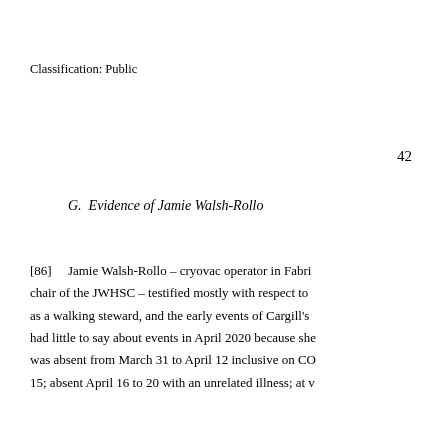Classification: Public
42
G.  Evidence of Jamie Walsh-Rollo
[86]    Jamie Walsh-Rollo – cryovac operator in Fabri chair of the JWHSC – testified mostly with respect to as a walking steward, and the early events of Cargill's had little to say about events in April 2020 because she was absent from March 31 to April 12 inclusive on CO 15; absent April 16 to 20 with an unrelated illness; at v